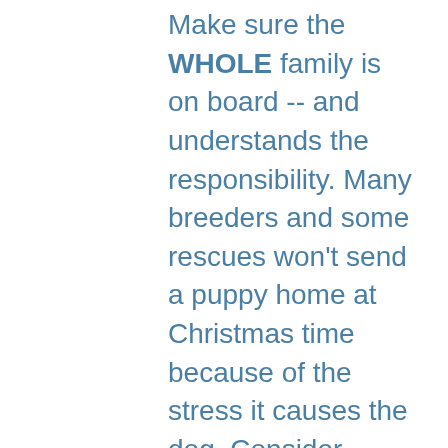Make sure the WHOLE family is on board -- and understands the responsibility. Many breeders and some rescues won't send a puppy home at Christmas time because of the stress it causes the dog. Consider bringing your pup home the week before or week after. Follow the advice of the breeder and your vet. Make Christmas as stress-free as possible for your new bundle of joy. Most animal shelters, however, WILL send home dogs at Christmas. Have a serious conversation with the adoption counselor there. They are a great resource and can help you pick the perfect time to bring home a new dog. Shelters and rescues tend to have a lot of pedigreed, purebred dogs starting in February. Yep, you guessed it, Christmas